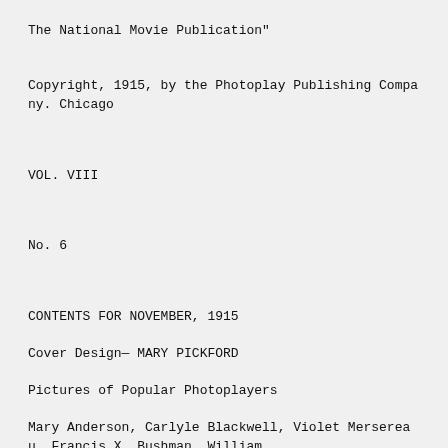The National Movie Publication"
Copyright, 1915, by the Photoplay Publishing Company. Chicago
VOL. VIII
No. 6
CONTENTS FOR NOVEMBER, 1915
Cover Design— MARY PICKFORD
Pictures of Popular Photoplayers
Mary Anderson, Carlyle Blackwell, Violet Merserea u, Francis X. Bushman, William Carwood, Tsuru Aoki, Ford Sterling, Winifred Green,